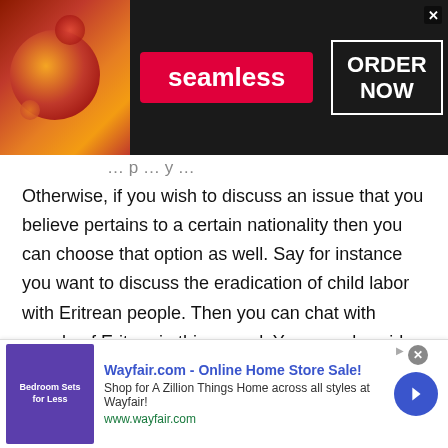[Figure (other): Seamless food delivery advertisement banner with pizza image on left, Seamless red badge in center, ORDER NOW box on right, dark background]
Otherwise, if you wish to discuss an issue that you believe pertains to a certain nationality then you can choose that option as well. Say for instance you want to discuss the eradication of child labor with Eritrean people. Then you can chat with people of Eritrea in this regard. You can also video chat with random people of Eritrea to better understand the concept of child labor. The video calling facility will enable you to look around the locality and the lifestyle of the people. And then you can directly ask
[Figure (other): Wayfair.com online advertisement banner with bedroom furniture image, Wayfair Online Home Store Sale text, blue arrow button]